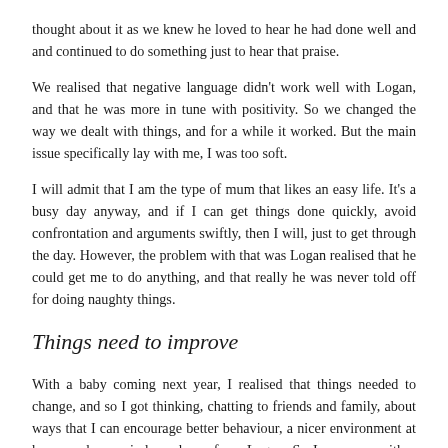thought about it as we knew he loved to hear he had done well and and continued to do something just to hear that praise.
We realised that negative language didn't work well with Logan, and that he was more in tune with positivity. So we changed the way we dealt with things, and for a while it worked. But the main issue specifically lay with me, I was too soft.
I will admit that I am the type of mum that likes an easy life. It's a busy day anyway, and if I can get things done quickly, avoid confrontation and arguments swiftly, then I will, just to get through the day. However, the problem with that was Logan realised that he could get me to do anything, and that really he was never told off for doing naughty things.
Things need to improve
With a baby coming next year, I realised that things needed to change, and so I got thinking, chatting to friends and family, about ways that I can encourage better behaviour, a nicer environment at home and more independence from Logan. So I came up with a few methods and to be totally honest with you all,